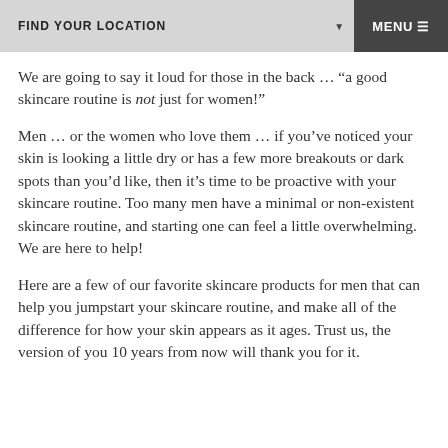FIND YOUR LOCATION   MENU
We are going to say it loud for those in the back … “a good skincare routine is not just for women!”
Men … or the women who love them … if you’ve noticed your skin is looking a little dry or has a few more breakouts or dark spots than you’d like, then it’s time to be proactive with your skincare routine. Too many men have a minimal or non-existent skincare routine, and starting one can feel a little overwhelming. We are here to help!
Here are a few of our favorite skincare products for men that can help you jumpstart your skincare routine, and make all of the difference for how your skin appears as it ages. Trust us, the version of you 10 years from now will thank you for it.